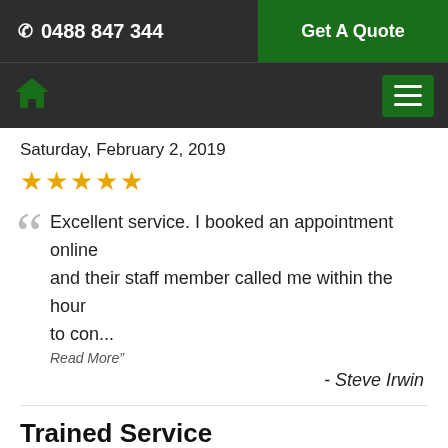☎ 0488 847 344 | Get A Quote
Home icon | Menu
Saturday, February 2, 2019
★★★★★
"Excellent service. I booked an appointment online and their staff member called me within the hour to con... Read More"
- Steve Irwin
Trained Service
Monday, August 26, 2019
★★★★